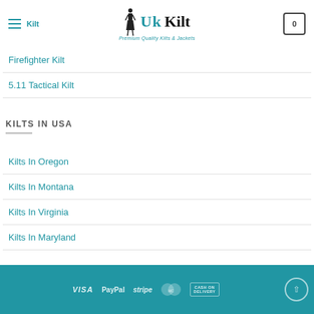UK Kilt – Premium Quality Kilts & Jackets
Firefighter Kilt
5.11 Tactical Kilt
KILTS IN USA
Kilts In Oregon
Kilts In Montana
Kilts In Virginia
Kilts In Maryland
VISA  PayPal  stripe  MasterCard  CASH ON DELIVERY